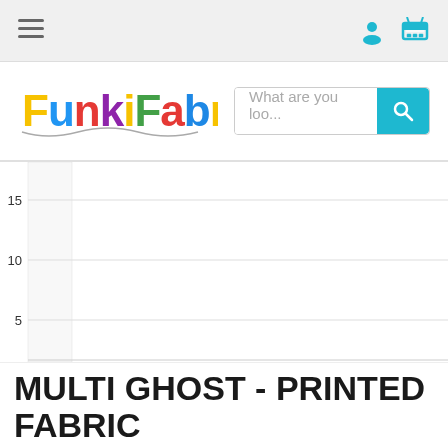Navigation bar with hamburger menu, user icon, and cart icon
[Figure (logo): FunkiFabrics logo with multicolored bubbly text]
What are you loo...
[Figure (continuous-plot): Y-axis chart ruler showing values 5, 10, 15 with horizontal gridlines, no data bars visible]
MULTI GHOST - PRINTED FABRIC
TS266 Multi Ghost
(Excl. VAT) per m
(Incl. VAT) per m